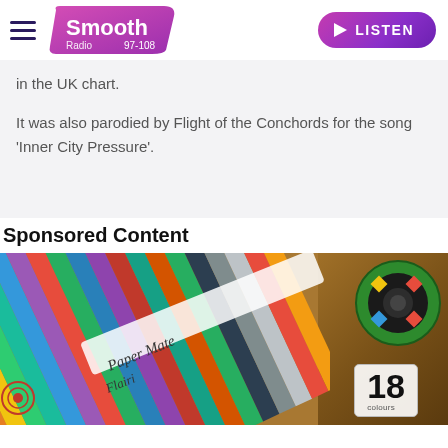Smooth Radio 97-108 | LISTEN
in the UK chart.
It was also parodied by Flight of the Conchords for the song 'Inner City Pressure'.
Sponsored Content
[Figure (photo): Overhead photo of colourful Paper Mate Flair felt-tip pens fanned out on a wooden surface next to a spool of tape and a notebook showing '18']